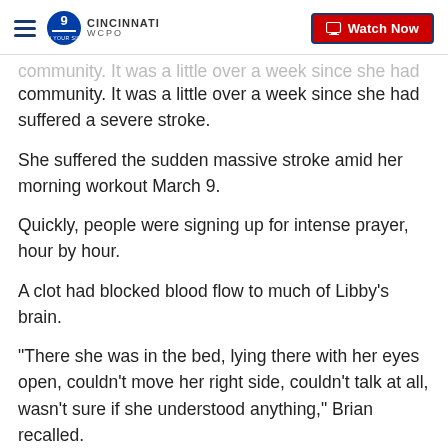WCPO 9 Cincinnati | Watch Now
community. It was a little over a week since she had suffered a severe stroke.
She suffered the sudden massive stroke amid her morning workout March 9.
Quickly, people were signing up for intense prayer, hour by hour.
A clot had blocked blood flow to much of Libby's brain.
"There she was in the bed, lying there with her eyes open, couldn't move her right side, couldn't talk at all, wasn't sure if she understood anything," Brian recalled.